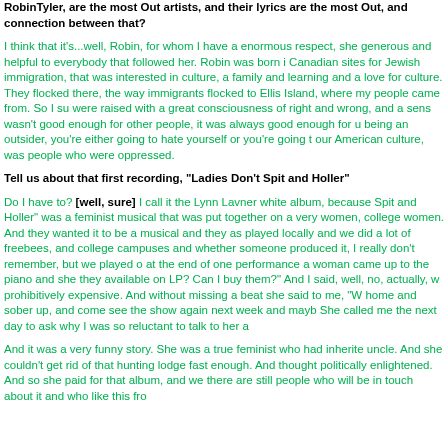RobinTyler, are the most Out artists, and their lyrics are the most Out, and connection between that?
I think that it's...well, Robin, for whom I have a enormous respect, she generous and helpful to everybody that followed her. Robin was born i Canadian sites for Jewish immigration, that was interested in culture, a family and learning and a love for culture. They flocked there, the way immigrants flocked to Ellis Island, where my people came from. So I su were raised with a great consciousness of right and wrong, and a sens wasn't good enough for other people, it was always good enough for u being an outsider, you're either going to hate yourself or you're going t our American culture, was people who were oppressed.
Tell us about that first recording, "Ladies Don't Spit and Holler"
Do I have to? [well, sure] I call it the Lynn Lavner white album, because Spit and Holler" was a feminist musical that was put together on a very women, college women. And they wanted it to be a musical and they as played locally and we did a lot of freebees, and college campuses and whether someone produced it, I really don't remember, but we played o at the end of one performance a woman came up to the piano and she they available on LP? Can I buy them?" And I said, well, no, actually, w prohibitively expensive. And without missing a beat she said to me, "W home and sober up, and come see the show again next week and mayb She called me the next day to ask why I was so reluctant to talk to her a
And it was a very funny story. She was a true feminist who had inherite uncle. And she couldn't get rid of that hunting lodge fast enough. And thought politically enlightened. And so she paid for that album, and we there are still people who will be in touch about it and who like this fro